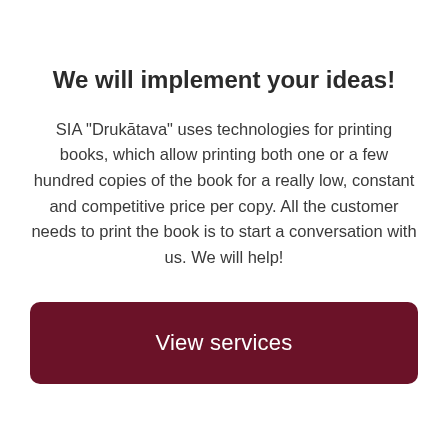We will implement your ideas!
SIA "Drukātava" uses technologies for printing books, which allow printing both one or a few hundred copies of the book for a really low, constant and competitive price per copy. All the customer needs to print the book is to start a conversation with us. We will help!
View services